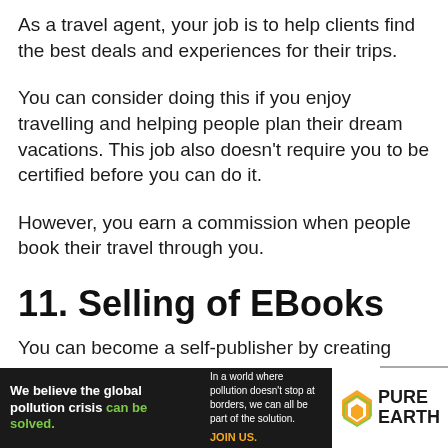As a travel agent, your job is to help clients find the best deals and experiences for their trips.
You can consider doing this if you enjoy travelling and helping people plan their dream vacations. This job also doesn't require you to be certified before you can do it.
However, you earn a commission when people book their travel through you.
11. Selling of EBooks
You can become a self-publisher by creating
[Figure (infographic): Pure Earth advertisement banner: dark background with white bold text 'We believe the global pollution crisis can be solved.' (can be solved in green), middle text 'In a world where pollution doesn't stop at borders, we can all be part of the solution. JOIN US.' in white/orange, Pure Earth logo on right with white background.]